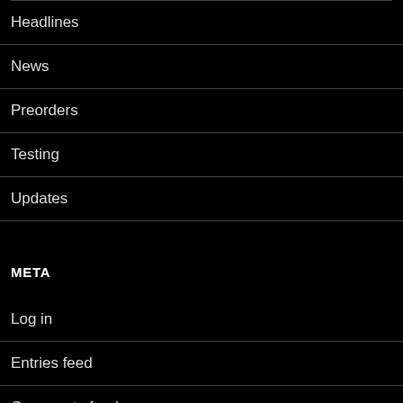Headlines
News
Preorders
Testing
Updates
META
Log in
Entries feed
Comments feed
WordPress.org